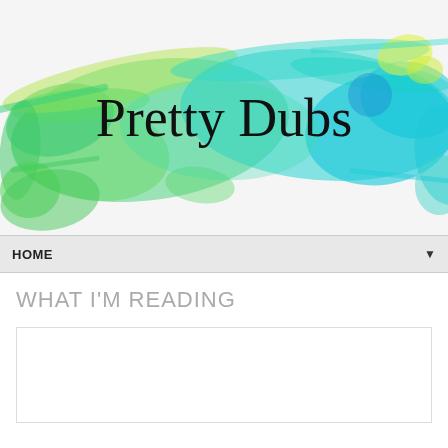[Figure (illustration): Watercolor splash background in teal, green, and yellow-green hues with the blog name 'Pretty Dubs' written in large serif black text centered on the splash]
HOME ▼
WHAT I'M READING
[Figure (other): Empty white content box with light gray border]